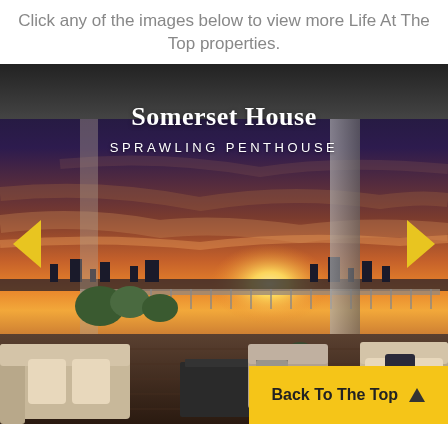Click any of the images below to view more Life At The Top properties.
[Figure (photo): A luxury penthouse terrace with outdoor seating, a sunset sky with orange and purple hues, city skyline in background. Text overlay reads 'Somerset House' and 'SPRAWLING PENTHOUSE'. Left and right navigation arrows visible.]